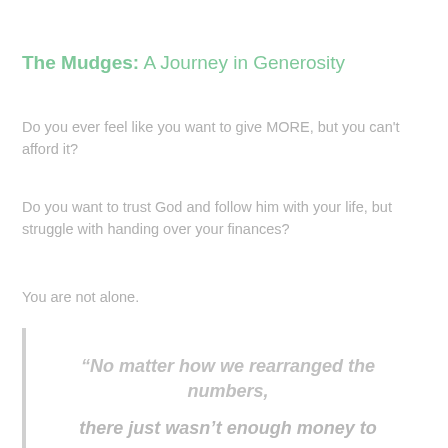The Mudges: A Journey in Generosity
Do you ever feel like you want to give MORE, but you can't afford it?
Do you want to trust God and follow him with your life, but struggle with handing over your finances?
You are not alone.
“No matter how we rearranged the numbers, there just wasn’t enough money to